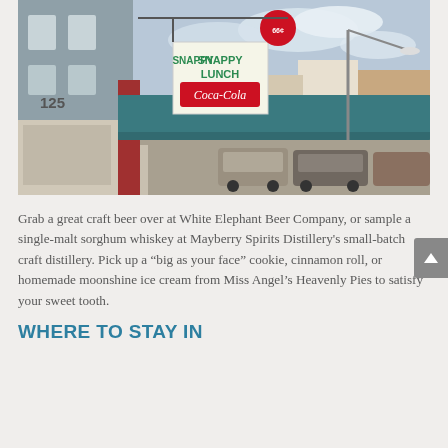[Figure (photo): Street-level photograph of a small-town main street showing the Snappy Lunch diner with a Coca-Cola sign, building number 125, teal awning, and parked cars along the sidewalk under a partly cloudy sky.]
Grab a great craft beer over at White Elephant Beer Company, or sample a single-malt sorghum whiskey at Mayberry Spirits Distillery's small-batch craft distillery. Pick up a “big as your face” cookie, cinnamon roll, or homemade moonshine ice cream from Miss Angel’s Heavenly Pies to satisfy your sweet tooth.
WHERE TO STAY IN